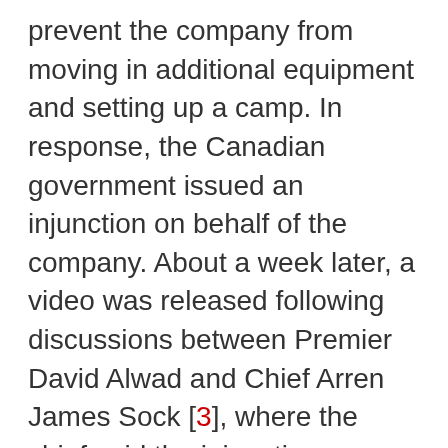prevent the company from moving in additional equipment and setting up a camp. In response, the Canadian government issued an injunction on behalf of the company. About a week later, a video was released following discussions between Premier David Alwad and Chief Arren James Sock [3], where the chief said the injunction was illegal, but voiced willingness to participate in an ongoing “dialogue.”
Following the attacks on protestors by mounties, solidarity rallies and events began almost immediately a[ACCESSIBILITY]continue throughout the weekend,